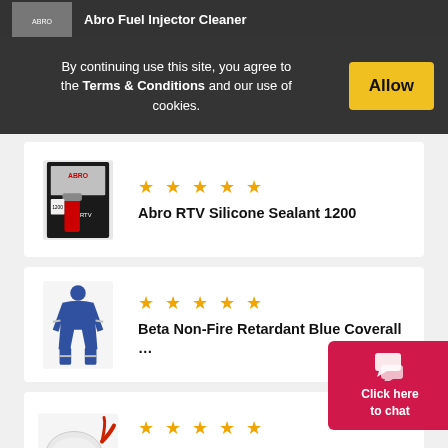Abro Fuel Injector Cleaner
By continuing use this site, you agree to the Terms & Conditions and our use of cookies.
Allow
[Figure (photo): Product image of Abro RTV Silicone Sealant 1200 tube in packaging]
★★★★★
Abro RTV Silicone Sealant 1200
[Figure (photo): Blue non-fire retardant coverall workwear uniform with reflective strips]
★★★★★
Beta Non-Fire Retardant Blue Coverall …
[Figure (photo): 3M 8835+ N95 particulate respirator/dust mask with red straps]
★★★★★
3M 8835+ Particulate N95 Disposable …
Click here to chat